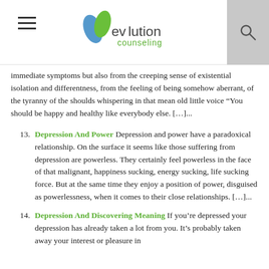Evolution Counseling [logo with hamburger menu and search icon]
immediate symptoms but also from the creeping sense of existential isolation and differentness, from the feeling of being somehow aberrant, of the tyranny of the shoulds whispering in that mean old little voice “You should be happy and healthy like everybody else. […]...
13. Depression And Power Depression and power have a paradoxical relationship. On the surface it seems like those suffering from depression are powerless. They certainly feel powerless in the face of that malignant, happiness sucking, energy sucking, life sucking force. But at the same time they enjoy a position of power, disguised as powerlessness, when it comes to their close relationships. […]...
14. Depression And Discovering Meaning If you’re depressed your depression has already taken a lot from you. It’s probably taken away your interest or pleasure in